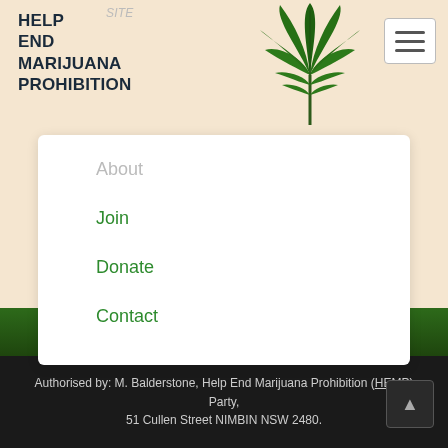Help End Marijuana Prohibition
About Site
Join
Donate
Contact
Authorised by: M. Balderstone, Help End Marijuana Prohibition (HEMP) Party, 51 Cullen Street NIMBIN NSW 2480.